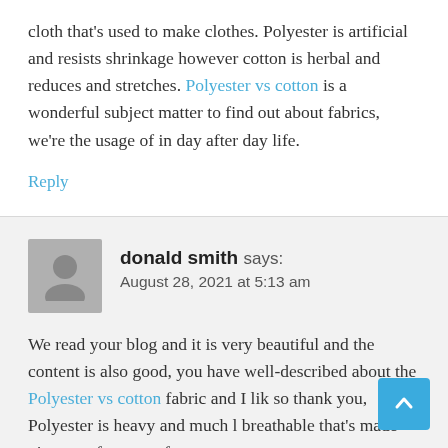cloth that's used to make clothes. Polyester is artificial and resists shrinkage however cotton is herbal and reduces and stretches. Polyester vs cotton is a wonderful subject matter to find out about fabrics, we're the usage of in day after day life.
Reply
donald smith says:
August 28, 2021 at 5:13 am
We read your blog and it is very beautiful and the content is also good, you have well-described about the Polyester vs cotton fabric and I lik so thank you, Polyester is heavy and much l breathable that's made via way of means of guy